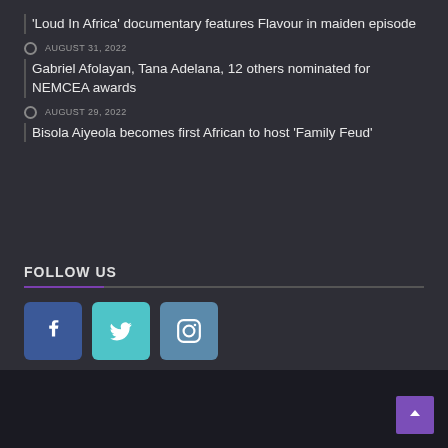‘Loud In Africa’ documentary features Flavour in maiden episode
AUGUST 31, 2022
Gabriel Afolayan, Tana Adelana, 12 others nominated for NEMCEA awards
AUGUST 29, 2022
Bisola Aiyeola becomes first African to host ‘Family Feud’
FOLLOW US
[Figure (other): Social media icons: Facebook (blue), Twitter (teal), Instagram (steel blue)]